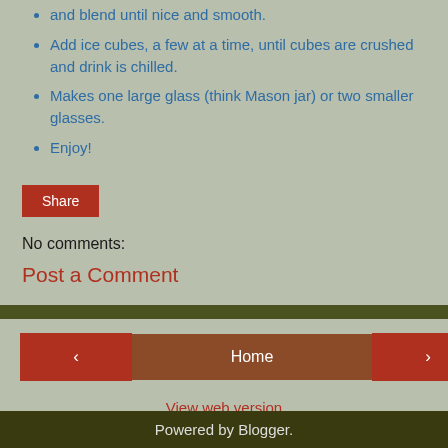and blend until nice and smooth.
Add ice cubes, a few at a time, until cubes are crushed and drink is chilled.
Makes one large glass (think Mason jar) or two smaller glasses.
Enjoy!
Share
No comments:
Post a Comment
Home | View web version | Powered by Blogger.